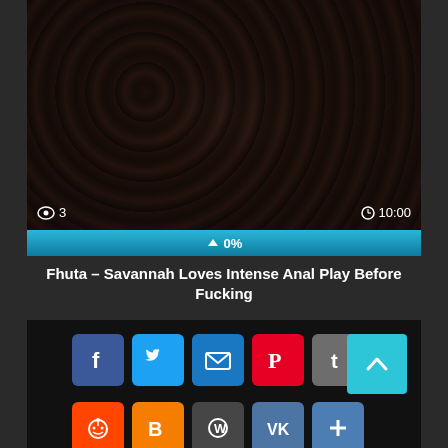[Figure (screenshot): Video thumbnail showing dark lace fabric, with view count '3' and duration '10:00' overlaid, and a blue 0% progress bar below]
Fhuta – Savannah Loves Intense Anal Play Before Fucking
[Figure (infographic): Social share buttons: Facebook, Twitter, Email, Pinterest, Tumblr (row 1); Reddit, Blogger, WordPress, VK, More (row 2); scroll-to-top button on right]